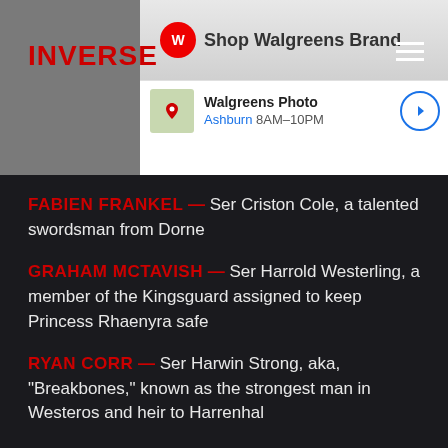INVERSE
[Figure (screenshot): Walgreens advertisement showing Shop Walgreens Brand with Walgreens Photo store info. Ashburn 8AM-10PM with map location icon and navigation arrow.]
FABIEN FRANKEL — Ser Criston Cole, a talented swordsman from Dorne
GRAHAM MCTAVISH — Ser Harrold Westerling, a member of the Kingsguard assigned to keep Princess Rhaenyra safe
RYAN CORR — Ser Harwin Strong, aka, "Breakbones," known as the strongest man in Westeros and heir to Harrenhal